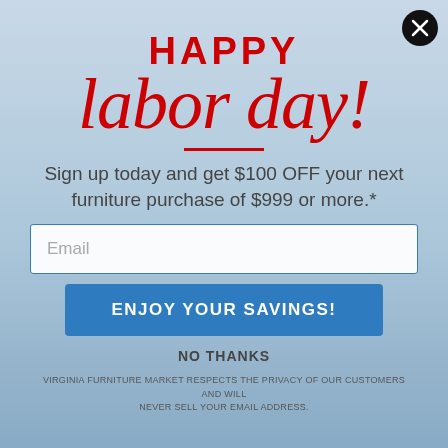HAPPY labor day!
Sign up today and get $100 OFF your next furniture purchase of $999 or more.*
[Figure (other): Email input field with placeholder text 'Email']
[Figure (other): Blue button labeled 'ENJOY YOUR SAVINGS!']
NO THANKS
VIRGINIA FURNITURE MARKET RESPECTS THE PRIVACY OF OUR CUSTOMERS AND WILL NEVER SELL YOUR EMAIL ADDRESS.